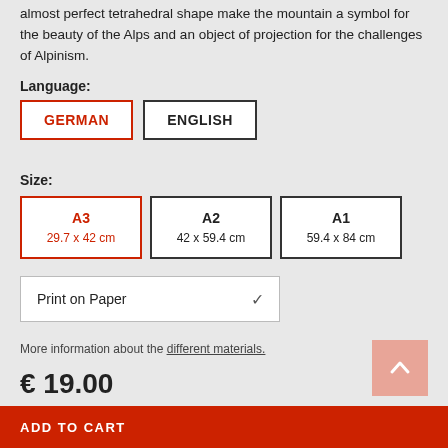almost perfect tetrahedral shape make the mountain a symbol for the beauty of the Alps and an object of projection for the challenges of Alpinism.
Language:
GERMAN  ENGLISH
Size:
A3 29.7 x 42 cm  A2 42 x 59.4 cm  A1 59.4 x 84 cm
Print on Paper
More information about the different materials.
€ 19.00
includes VAT plus shipping
ADD TO CART